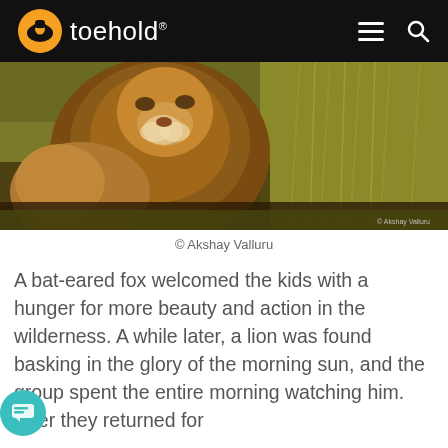toehold®
[Figure (photo): Close-up photo of a male lion with a large mane, looking upward, with another lion pressing against him. Savanna grass in the background. Photo credit: © Akshay Valluru]
© Akshay Valluru
A bat-eared fox welcomed the kids with a hunger for more beauty and action in the wilderness. A while later, a lion was found basking in the glory of the morning sun, and the group spent the entire morning watching him. After they returned for